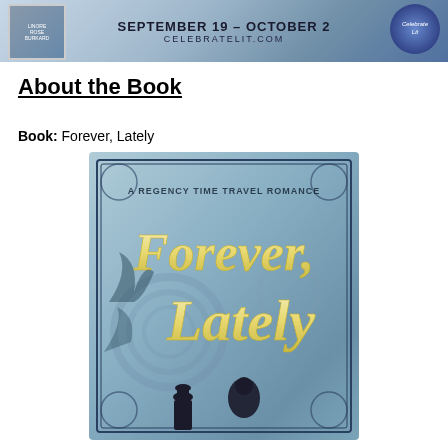[Figure (illustration): CelebrateLit blog tour banner for September 19 - October 2, showing a book thumbnail on the left, the dates centered, CELEBRATELIT.COM text below, and the CelebrateLit logo on the right against a blue gradient background.]
About the Book
Book: Forever, Lately
[Figure (photo): Book cover of 'Forever, Lately' - A Regency Time Travel Romance. The cover features ornate teal/blue decorative background with scrollwork patterns, 'Forever, Lately' written in large elegant cream/gold script lettering, subtitle 'A Regency Time Travel Romance' at the top, and silhouettes of a man in top hat and a woman at the bottom.]